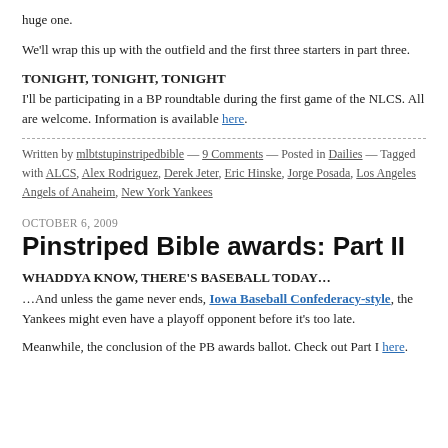huge one.
We'll wrap this up with the outfield and the first three starters in part three.
TONIGHT, TONIGHT, TONIGHT
I'll be participating in a BP roundtable during the first game of the NLCS. All are welcome. Information is available here.
Written by mlbtstupinstripedbible — 9 Comments — Posted in Dailies — Tagged with ALCS, Alex Rodriguez, Derek Jeter, Eric Hinske, Jorge Posada, Los Angeles Angels of Anaheim, New York Yankees
OCTOBER 6, 2009
Pinstriped Bible awards: Part II
WHADDYA KNOW, THERE'S BASEBALL TODAY…
…And unless the game never ends, Iowa Baseball Confederacy-style, the Yankees might even have a playoff opponent before it's too late.
Meanwhile, the conclusion of the PB awards ballot. Check out Part I here.